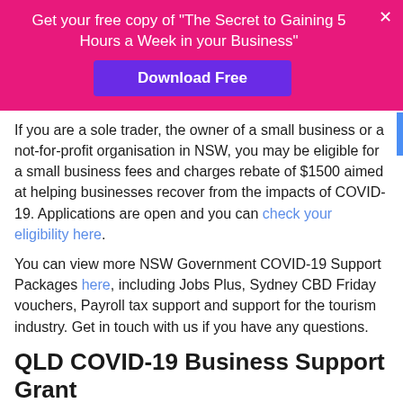Get your free copy of "The Secret to Gaining 5 Hours a Week in your Business"
Download Free
If you are a sole trader, the owner of a small business or a not-for-profit organisation in NSW, you may be eligible for a small business fees and charges rebate of $1500 aimed at helping businesses recover from the impacts of COVID-19. Applications are open and you can check your eligibility here.
You can view more NSW Government COVID-19 Support Packages here, including Jobs Plus, Sydney CBD Friday vouchers, Payroll tax support and support for the tourism industry. Get in touch with us if you have any questions.
QLD COVID-19 Business Support Grant
Your business may be eligible for financial support through the 2021 COVID-19 Business Support Grants.